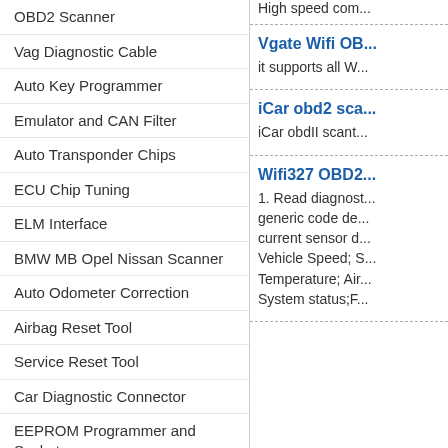OBD2 Scanner
Vag Diagnostic Cable
Auto Key Programmer
Emulator and CAN Filter
Auto Transponder Chips
ECU Chip Tuning
ELM Interface
BMW MB Opel Nissan Scanner
Auto Odometer Correction
Airbag Reset Tool
Service Reset Tool
Car Diagnostic Connector
EEPROM Programmer and Socket
Auto Transponder Keys
Engine Gas Analyzer
Electrial System Detection
Locksmith Tools
High speed com...
Vgate Wifi OB...
it supports all W...
iCar obd2 sca...
iCar obdII scant...
Wifi327 OBD2...
1. Read diagnost... generic code de... current sensor d... Vehicle Speed; S... Temperature; Air... System status;F...